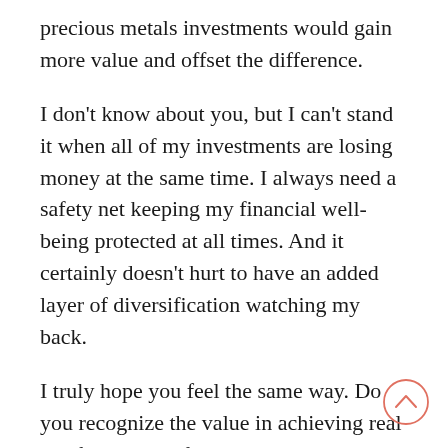precious metals investments would gain more value and offset the difference.
I don't know about you, but I can't stand it when all of my investments are losing money at the same time. I always need a safety net keeping my financial well-being protected at all times. And it certainly doesn't hurt to have an added layer of diversification watching my back.
I truly hope you feel the same way. Do you recognize the value in achieving real portfolio diversification? You should begin investing in gold now if you answered yes. Do so within a gold IRA, because it's the best way to achieve the greatest returns as well.